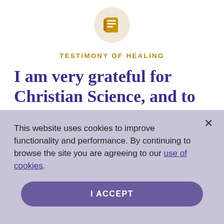[Figure (logo): Scroll/document icon inside a circular beige/cream background]
TESTIMONY OF HEALING
I am very grateful for Christian Science, and to God for
This website uses cookies to improve functionality and performance. By continuing to browse the site you are agreeing to our use of cookies.
I ACCEPT